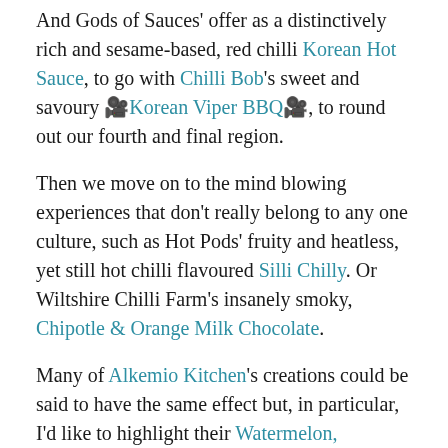And Gods of Sauces' offer as a distinctively rich and sesame-based, red chilli Korean Hot Sauce, to go with Chilli Bob's sweet and savoury 🎥Korean Viper BBQ🎥, to round out our fourth and final region.
Then we move on to the mind blowing experiences that don't really belong to any one culture, such as Hot Pods' fruity and heatless, yet still hot chilli flavoured Silli Chilly. Or Wiltshire Chilli Farm's insanely smoky, Chipotle & Orange Milk Chocolate.
Many of Alkemio Kitchen's creations could be said to have the same effect but, in particular, I'd like to highlight their Watermelon, Cucumber, Lemongrass, Sugar, for this section, because it's such an out there choice of fruit which comes across so differently from how you'd expect. With a light and refreshing, yet full on